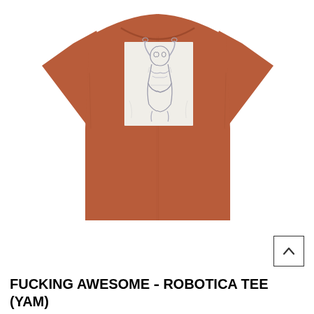[Figure (photo): A rust/yam colored short-sleeve t-shirt laid flat on a white background. The shirt has a rectangular graphic on the chest area depicting a pencil sketch illustration of a female robotic figure with arms raised.]
FUCKING AWESOME - ROBOTICA TEE (YAM)